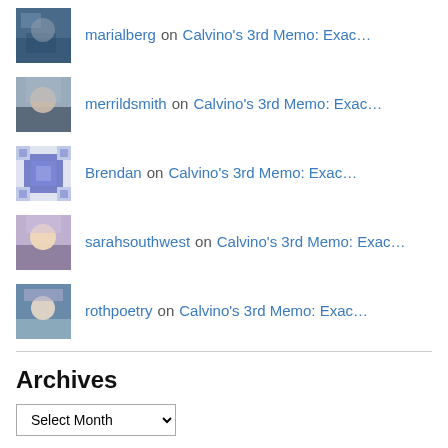marialberg on Calvino's 3rd Memo: Exac…
merrildsmith on Calvino's 3rd Memo: Exac…
Brendan on Calvino's 3rd Memo: Exac…
sarahsouthwest on Calvino's 3rd Memo: Exac…
rothpoetry on Calvino's 3rd Memo: Exac…
Archives
Select Month
Meta